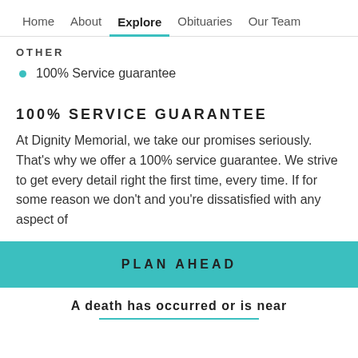Home   About   Explore   Obituaries   Our Team
OTHER
100% Service guarantee
100% SERVICE GUARANTEE
At Dignity Memorial, we take our promises seriously. That’s why we offer a 100% service guarantee. We strive to get every detail right the first time, every time. If for some reason we don’t and you’re dissatisfied with any aspect of
PLAN AHEAD
A death has occurred or is near